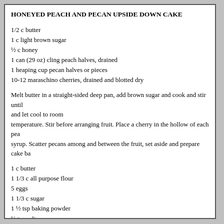HONEYED PEACH AND PECAN UPSIDE DOWN CAKE
1/2 c butter
1 c light brown sugar
½ c honey
1 can (29 oz) cling peach halves, drained
1 heaping cup pecan halves or pieces
10-12 maraschino cherries, drained and blotted dry
Melt butter in a straight-sided deep pan, add brown sugar and cook and stir until and let cool to room temperature. Stir before arranging fruit. Place a cherry in the hollow of each pea syrup. Scatter pecans among and between the fruit, set aside and prepare cake ba
1 c butter
1 1/3 c all purpose flour
5 eggs
1 1/3 c sugar
1 ½ tsp baking powder
½ tsp salt
½ tsp almond extract
Place the butter and flour in a large mixing bowl. Beat on low speed until mixtur (about 5 minutes). Add eggs, one at a time, beating at low speed. Sift together th with almond extract to batter on low speed until well combined. Carefully spoon Bake at 325 for 45-60 minutes. Remove cake and allow to cool. Serve at room te